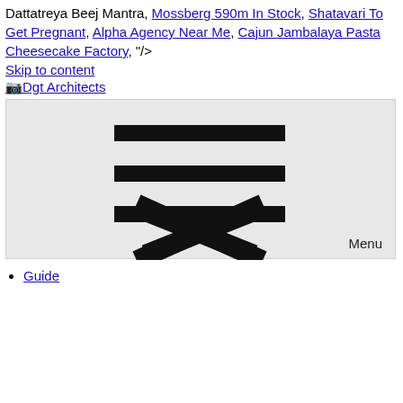Dattatreya Beej Mantra, Mossberg 590m In Stock, Shatavari To Get Pregnant, Alpha Agency Near Me, Cajun Jambalaya Pasta Cheesecake Factory, "/>
Skip to content
Dgt Architects
[Figure (infographic): A light grey box containing three horizontal black bars (hamburger menu icon) stacked vertically in the upper portion, and a large black X icon in the lower/center portion. The word 'Menu' appears in the bottom right corner.]
Guide